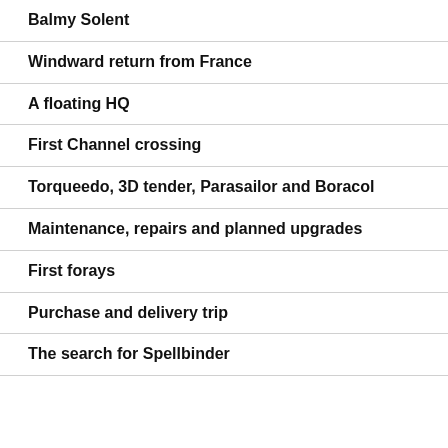Balmy Solent
Windward return from France
A floating HQ
First Channel crossing
Torqueedo, 3D tender, Parasailor and Boracol
Maintenance, repairs and planned upgrades
First forays
Purchase and delivery trip
The search for Spellbinder